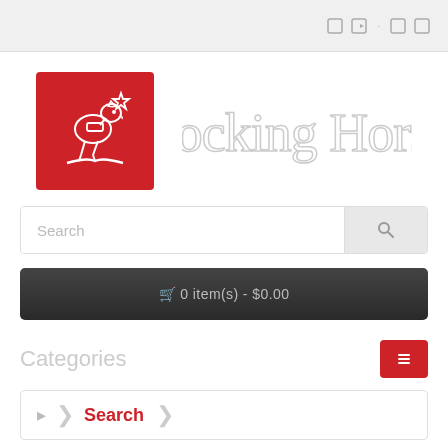[Figure (screenshot): Top navigation bar with icons on right side]
[Figure (logo): Rocking Horse store logo: red square with white rocking horse illustration and star, with cursive 'Rocking Horse' text to the right]
[Figure (screenshot): Search input bar with search placeholder text and search icon button on right]
🛒 0 item(s) - $0.00
Categories
🔍 Search